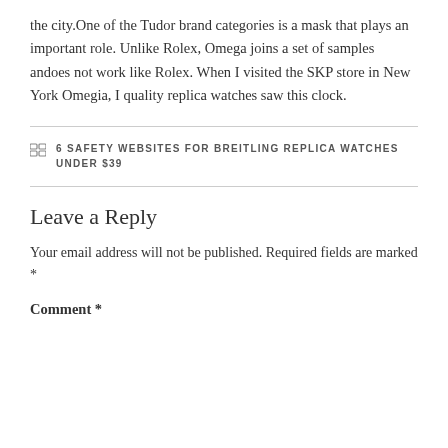the city.One of the Tudor brand categories is a mask that plays an important role. Unlike Rolex, Omega joins a set of samples andoes not work like Rolex. When I visited the SKP store in New York Omegia, I quality replica watches saw this clock.
6 SAFETY WEBSITES FOR BREITLING REPLICA WATCHES UNDER $39
Leave a Reply
Your email address will not be published. Required fields are marked *
Comment *